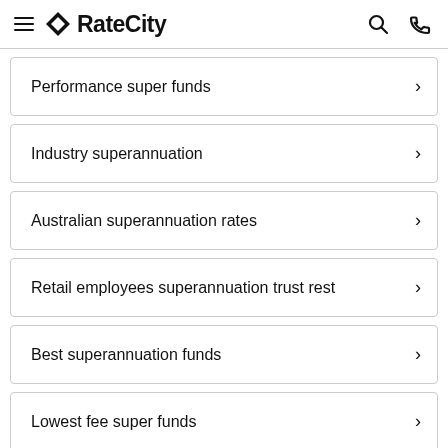RateCity
Performance super funds
Industry superannuation
Australian superannuation rates
Retail employees superannuation trust rest
Best superannuation funds
Lowest fee super funds